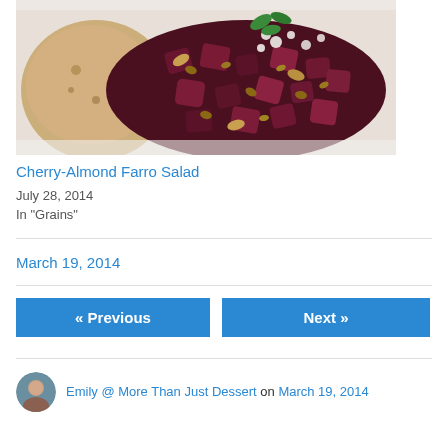[Figure (photo): Food photo showing cherry-almond farro salad with beets, feta cheese, herbs, and almonds on a white plate with flatbread]
Cherry-Almond Farro Salad
July 28, 2014
In "Grains"
March 19, 2014
« Previous
Next »
Emily @ More Than Just Dessert on March 19, 2014